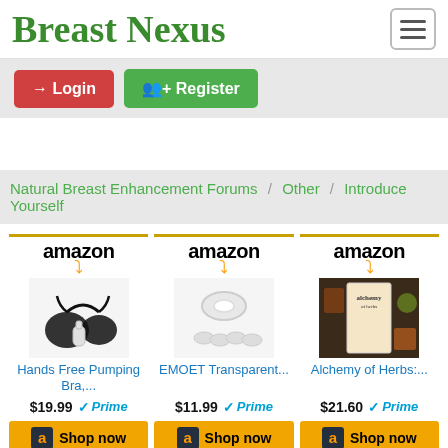Breast Nexus
Login
Register
Natural Breast Enhancement Forums / Other / Introduce Yourself
[Figure (other): Amazon product listing: Hands Free Pumping Bra,... $19.99 Prime]
[Figure (other): Amazon product listing: EMOET Transparent... $11.99 Prime]
[Figure (other): Amazon product listing: Alchemy of Herbs:... $21.60 Prime]
Shop now
Shop now
Shop now